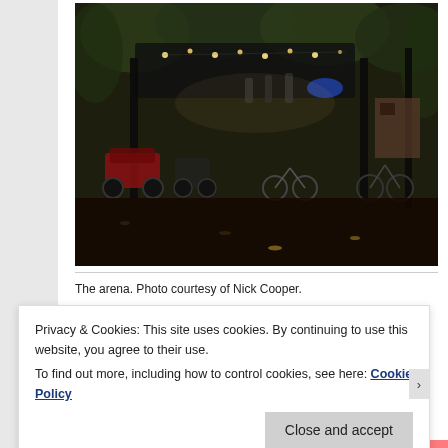[Figure (photo): Dark outdoor evening photo showing an arena/gathering space in a wooded area with motorcycles, bicycles, string lights hanging from a canopy/trellis, people visible in background, trees surrounding the area, dirt ground.]
The arena. Photo courtesy of Nick Cooper.
Privacy & Cookies: This site uses cookies. By continuing to use this website, you agree to their use.
To find out more, including how to control cookies, see here: Cookie Policy